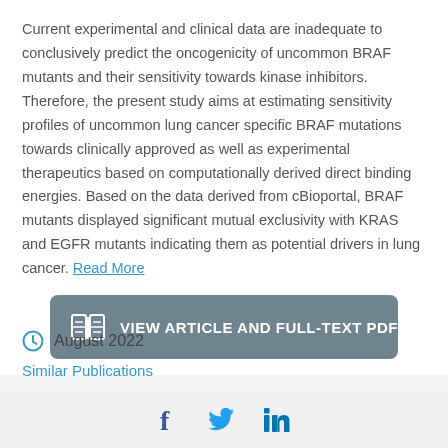Current experimental and clinical data are inadequate to conclusively predict the oncogenicity of uncommon BRAF mutants and their sensitivity towards kinase inhibitors. Therefore, the present study aims at estimating sensitivity profiles of uncommon lung cancer specific BRAF mutations towards clinically approved as well as experimental therapeutics based on computationally derived direct binding energies. Based on the data derived from cBioportal, BRAF mutants displayed significant mutual exclusivity with KRAS and EGFR mutants indicating them as potential drivers in lung cancer. Read More
[Figure (other): Button: VIEW ARTICLE AND FULL-TEXT PDF with open book icon]
August 2022
Similar Publications
[Figure (other): Social sharing icons: Facebook, Twitter, LinkedIn]